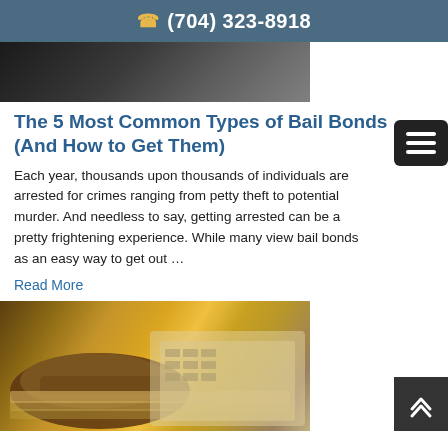(704) 323-8918
[Figure (photo): Dark image of a person, possibly in a courtroom or legal setting]
The 5 Most Common Types of Bail Bonds (And How to Get Them)
Each year, thousands upon thousands of individuals are arrested for crimes ranging from petty theft to potential murder. And needless to say, getting arrested can be a pretty frightening experience. While many view bail bonds as an easy way to get out …
Read More
[Figure (photo): A wooden gavel resting on US dollar bills with a calculator in the background, representing legal and financial themes]